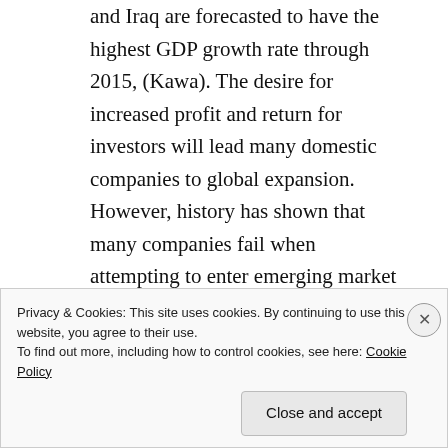and Iraq are forecasted to have the highest GDP growth rate through 2015, (Kawa). The desire for increased profit and return for investors will lead many domestic companies to global expansion. However, history has shown that many companies fail when attempting to enter emerging market countries. How does global expansion failure effect the company's domestic operations? "Research has shown that the cost of a failed international assignment is more than just financial, more than just a lack of return on investment. The initial cost is compounded by
Privacy & Cookies: This site uses cookies. By continuing to use this website, you agree to their use.
To find out more, including how to control cookies, see here: Cookie Policy